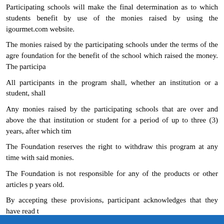Participating schools will make the final determination as to which students benefit by use of the monies raised by using the igourmet.com website.
The monies raised by the participating schools under the terms of the agreement will be held in foundation for the benefit of the school which raised the money. The participa...
All participants in the program shall, whether an institution or a student, shall...
Any monies raised by the participating schools that are over and above the... that institution or student for a period of up to three (3) years, after which tim...
The Foundation reserves the right to withdraw this program at any time with... said monies.
The Foundation is not responsible for any of the products or other articles p... years old.
By accepting these provisions, participant acknowledges that they have read t...